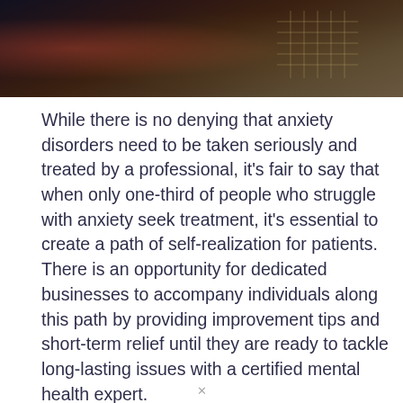[Figure (photo): Dark atmospheric photo showing a person partially visible with warm red/orange tones, and a grid-pattern object (possibly a laptop keyboard or similar) visible in the background. Dark, moody lighting.]
While there is no denying that anxiety disorders need to be taken seriously and treated by a professional, it's fair to say that when only one-third of people who struggle with anxiety seek treatment, it's essential to create a path of self-realization for patients. There is an opportunity for dedicated businesses to accompany individuals along this path by providing improvement tips and short-term relief until they are ready to tackle long-lasting issues with a certified mental health expert.